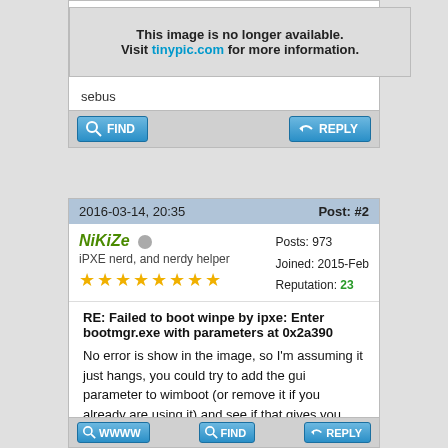[Figure (other): Image unavailable placeholder: 'This image is no longer available. Visit tinypic.com for more information.']
sebus
[Figure (other): FIND button]
[Figure (other): REPLY button]
2016-03-14, 20:35
Post: #2
NiKiZe
iPXE nerd, and nerdy helper
Posts: 973
Joined: 2015-Feb
Reputation: 23
RE: Failed to boot winpe by ipxe: Enter bootmgr.exe with parameters at 0x2a390
No error is show in the image, so I'm assuming it just hangs, you could try to add the gui parameter to wimboot (or remove it if you already are using it) and see if that gives you something different, also you might want to test with adding the pause parameter, just to get a little bit more information about where it hangs.
Use GitHub Discussions
VRAM bin